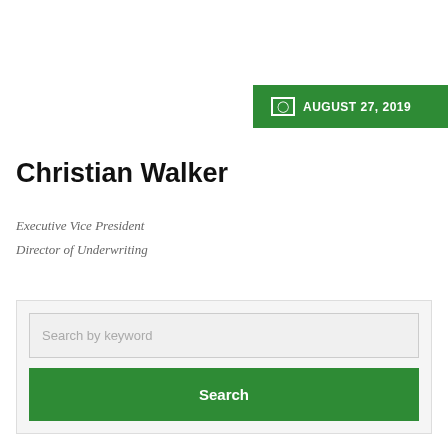AUGUST 27, 2019
Christian Walker
Executive Vice President
Director of Underwriting
Search by keyword
Search